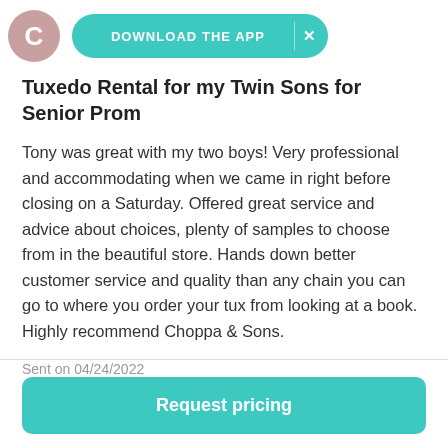[Figure (other): Avatar circle with letter C and teal download app banner with X close button]
Tuxedo Rental for my Twin Sons for Senior Prom
Tony was great with my two boys! Very professional and accommodating when we came in right before closing on a Saturday. Offered great service and advice about choices, plenty of samples to choose from in the beautiful store. Hands down better customer service and quality than any chain you can go to where you order your tux from looking at a book. Highly recommend Choppa & Sons.
Sent on 04/24/2022
Request pricing